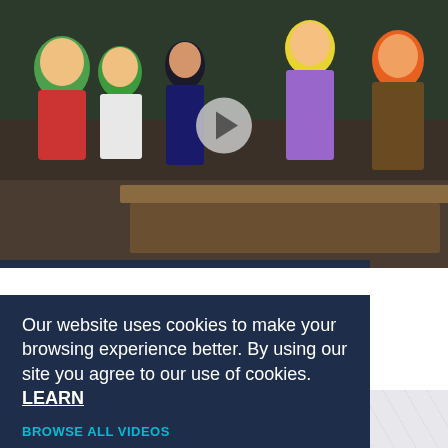[Figure (screenshot): Anime scene screenshot showing multiple characters gathered together, with a circular play button overlay in the center top area]
Duration: 23:20
ct Capture Yeager II! (Sub)
to uncovering Iliaster's secrets, but he's
eason 2
Our website uses cookies to make your browsing experience better. By using our site you agree to our use of cookies. LEARN MORE.
Accept
BROWSE ALL VIDEOS